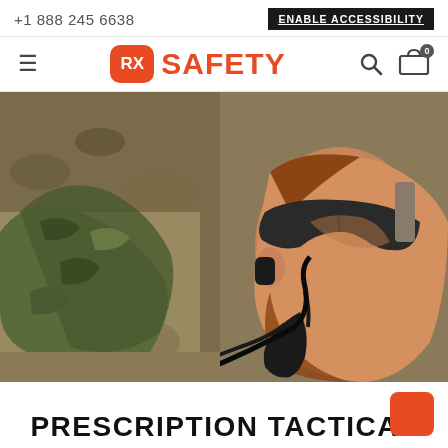+1 888 245 6638   ENABLE ACCESSIBILITY
[Figure (logo): RX Safety logo with hamburger menu, search icon, and cart icon navigation bar]
[Figure (photo): Military soldier in camouflage gear wearing tactical eyewear, holding a communication device to his face, in an outdoor field environment]
PRESCRIPTION TACTICAL